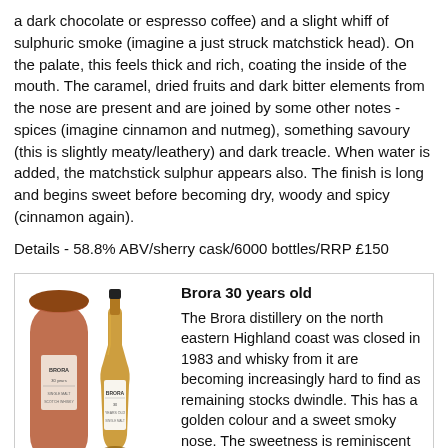a dark chocolate or espresso coffee) and a slight whiff of sulphuric smoke (imagine a just struck matchstick head). On the palate, this feels thick and rich, coating the inside of the mouth. The caramel, dried fruits and dark bitter elements from the nose are present and are joined by some other notes - spices (imagine cinnamon and nutmeg), something savoury (this is slightly meaty/leathery) and dark treacle. When water is added, the matchstick sulphur appears also. The finish is long and begins sweet before becoming dry, woody and spicy (cinnamon again).
Details - 58.8% ABV/sherry cask/6000 bottles/RRP £150
[Figure (photo): Photo of Brora 30 years old whisky bottle next to its cylindrical terracotta-coloured tube packaging]
Brora 30 years old
The Brora distillery on the north eastern Highland coast was closed in 1983 and whisky from it are becoming increasingly hard to find as remaining stocks dwindle. This has a golden colour and a sweet smoky nose. The sweetness is reminiscent of cereal grains and butterscotch, backed up by some woody smoke (imagine an ashy